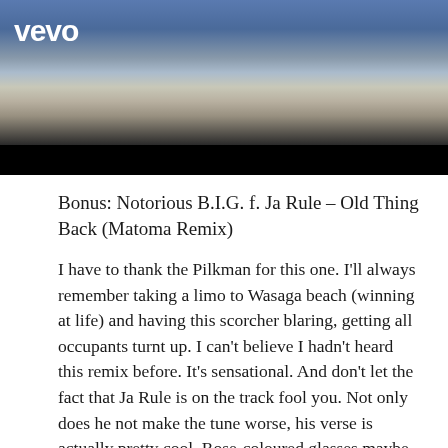[Figure (screenshot): A Vevo music video screenshot showing a person in jeans with a dark lower bar, with the Vevo logo in white at top left.]
Bonus: Notorious B.I.G. f. Ja Rule – Old Thing Back (Matoma Remix)
I have to thank the Pilkman for this one. I'll always remember taking a limo to Wasaga beach (winning at life) and having this scorcher blaring, getting all occupants turnt up. I can't believe I hadn't heard this remix before. It's sensational. And don't let the fact that Ja Rule is on the track fool you. Not only does he not make the tune worse, his verse is actually pretty cool. Rose-coloured glasses maybe, but such is the power of summer.